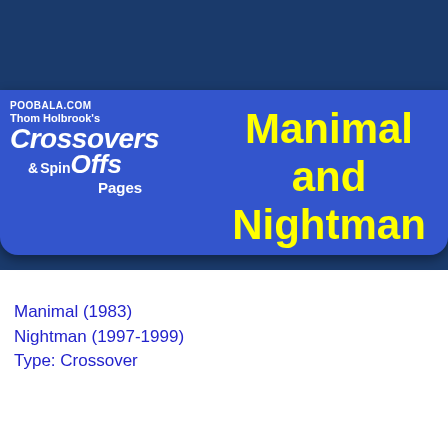[Figure (logo): POOBALA.COM Thom Holbrook's Crossovers & Spin Offs Pages logo on blue banner background]
Manimal and Nightman
Manimal (1983)
Nightman (1997-1999)
Type: Crossover